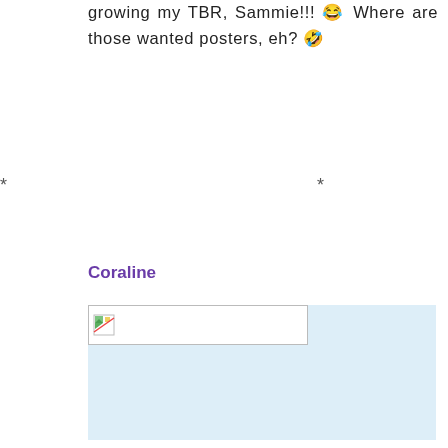growing my TBR, Sammie!!! 😂 Where are those wanted posters, eh? 🤣
* * *
Coraline
[Figure (photo): Broken/unloaded image placeholder in a light blue image area]